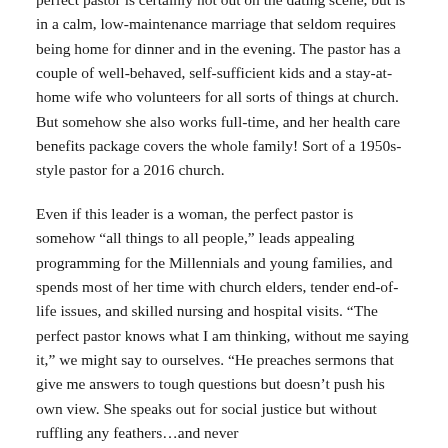perfect pastor is certainly not out on the dating scene, but is in a calm, low-maintenance marriage that seldom requires being home for dinner and in the evening. The pastor has a couple of well-behaved, self-sufficient kids and a stay-at-home wife who volunteers for all sorts of things at church. But somehow she also works full-time, and her health care benefits package covers the whole family! Sort of a 1950s-style pastor for a 2016 church.
Even if this leader is a woman, the perfect pastor is somehow “all things to all people,” leads appealing programming for the Millennials and young families, and spends most of her time with church elders, tender end-of-life issues, and skilled nursing and hospital visits. “The perfect pastor knows what I am thinking, without me saying it,” we might say to ourselves. “He preaches sermons that give me answers to tough questions but doesn’t push his own view. She speaks out for social justice but without ruffling any feathers…and never